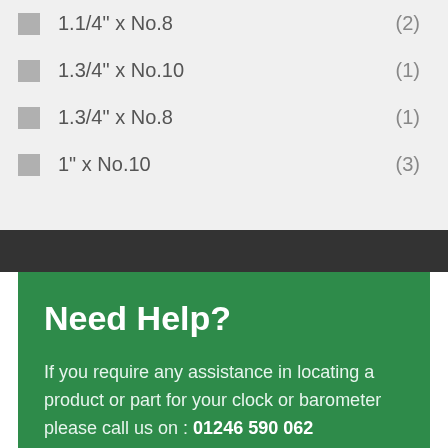1.1/4" x No.8 (2)
1.3/4" x No.10 (1)
1.3/4" x No.8 (1)
1" x No.10 (3)
Need Help?
If you require any assistance in locating a product or part for your clock or barometer please call us on : 01246 590 062
Contact Us